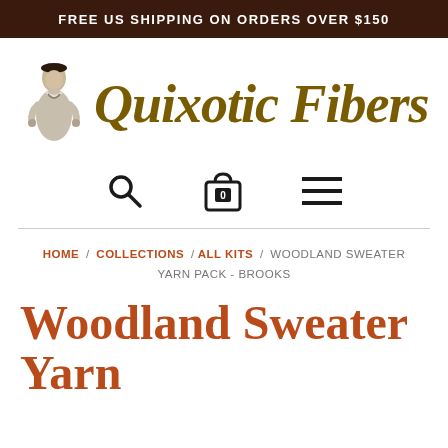FREE US SHIPPING ON ORDERS OVER $150
[Figure (logo): Quixotic Fibers logo with illustrated figure wearing historical costume and script logotype text]
[Figure (infographic): Navigation icons: search magnifying glass, shopping bag with 0, and hamburger menu]
HOME / COLLECTIONS / ALL KITS / WOODLAND SWEATER YARN PACK - BROOKS
Woodland Sweater Yarn